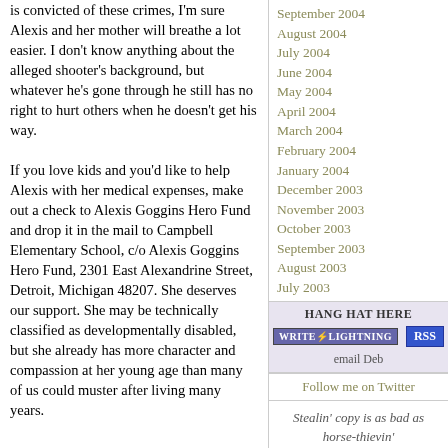is convicted of these crimes, I'm sure Alexis and her mother will breathe a lot easier. I don't know anything about the alleged shooter's background, but whatever he's gone through he still has no right to hurt others when he doesn't get his way.

If you love kids and you'd like to help Alexis with her medical expenses, make out a check to Alexis Goggins Hero Fund and drop it in the mail to Campbell Elementary School, c/o Alexis Goggins Hero Fund, 2301 East Alexandrine Street, Detroit, Michigan 48207. She deserves our support. She may be technically classified as developmentally disabled, but she already has more character and compassion at her young age than many of us could muster after living many years.
September 2004
August 2004
July 2004
June 2004
May 2004
April 2004
March 2004
February 2004
January 2004
December 2003
November 2003
October 2003
September 2003
August 2003
July 2003
HANG HAT HERE
WRITE LIGHTNING   RSS   email Deb
Follow me on Twitter
Stealin' copy is as bad as horse-thievin' and cattle rustlin'! Lightning may strike such varmints when they least expect it!